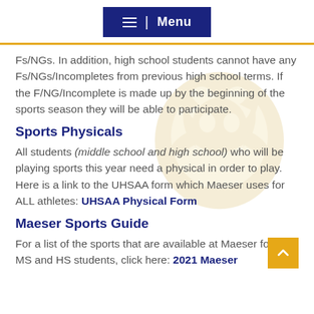Menu
Fs/NGs. In addition, high school students cannot have any Fs/NGs/Incompletes from previous high school terms. If the F/NG/Incomplete is made up by the beginning of the sports season they will be able to participate.
Sports Physicals
All students (middle school and high school) who will be playing sports this year need a physical in order to play. Here is a link to the UHSAA form which Maeser uses for ALL athletes: UHSAA Physical Form
Maeser Sports Guide
For a list of the sports that are available at Maeser for both MS and HS students, click here: 2021 Maeser